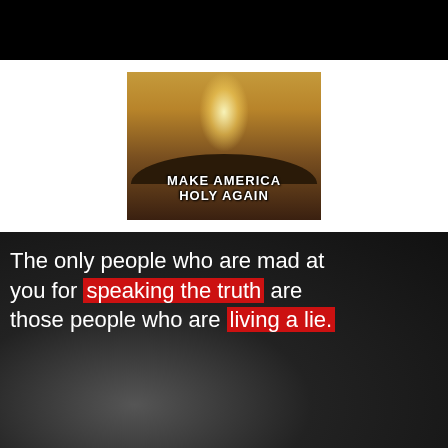[Figure (illustration): Black bar at top of page]
[Figure (illustration): Religious illustration with crowd and glowing figure, text reading MAKE AMERICA HOLY AGAIN]
[Figure (photo): Black and white photo of crowd with overlaid text: The only people who are mad at you for speaking the truth are those people who are living a lie. Phrases 'speaking the truth' and 'living a lie.' highlighted in red.]